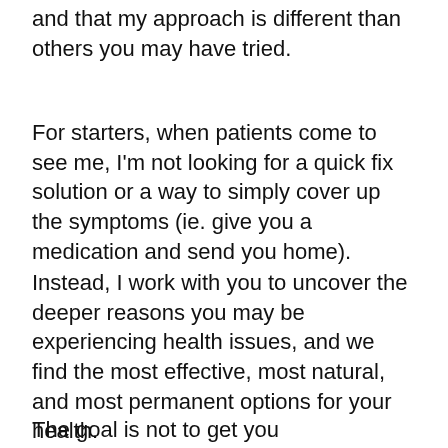and that my approach is different than others you may have tried.
For starters, when patients come to see me, I'm not looking for a quick fix solution or a way to simply cover up the symptoms (ie. give you a medication and send you home).
Instead, I work with you to uncover the deeper reasons you may be experiencing health issues, and we find the most effective, most natural, and most permanent options for your health.
The goal is not to get you